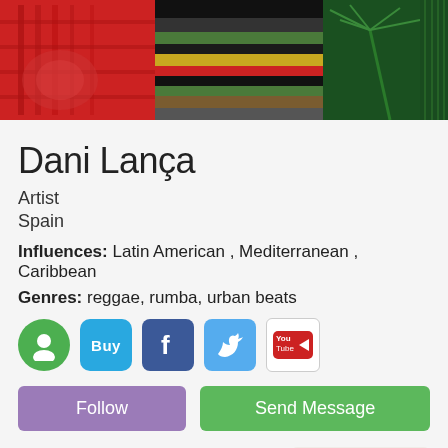[Figure (photo): Banner image showing colorful artistic collage with red architectural elements on left, striped fabric/textile patterns in center (black, green, yellow, red colors), and green palm tree/plant on dark green background on right.]
Dani Lança
Artist
Spain
Influences: Latin American , Mediterranean , Caribbean
Genres: reggae, rumba, urban beats
[Figure (infographic): Row of social media icons: green profile icon, blue Buy button, Facebook icon, Twitter icon, YouTube icon]
Follow
Send Message
TRACKS
PLAY ALL